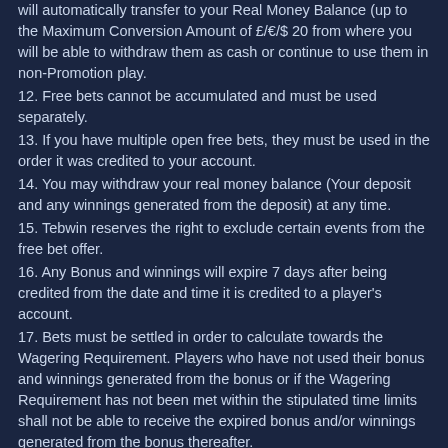will automatically transfer to your Real Money Balance (up to the Maximum Conversion Amount of £/€/$ 20 from where you will be able to withdraw them as cash or continue to use them in non-Promotion play.
12. Free bets cannot be accumulated and must be used separately.
13. If you have multiple open free bets, they must be used in the order it was credited to your account.
14. You may withdraw your real money balance (Your deposit and any winnings generated from the deposit) at any time.
15. Tebwin reserves the right to exclude certain events from the free bet offer.
16. Any Bonus and winnings will expire 7 days after being credited from the date and time it is credited to a player's account.
17. Bets must be settled in order to calculate towards the Wagering Requirement. Players who have not used their bonus and winnings generated from the bonus or if the Wagering Requirement has not been met within the stipulated time limits shall not be able to receive the expired bonus and/or winnings generated from the bonus thereafter.
18. Bonus is redeemable once upon your first deposit.
19. By using the Deposit Code SPORT21, you opt-in to the promotion and agree to its Terms and Conditions.
20. The promotion is not available to customers depositing with Skrill